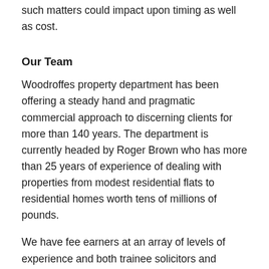such matters could impact upon timing as well as cost.
Our Team
Woodroffes property department has been offering a steady hand and pragmatic commercial approach to discerning clients for more than 140 years. The department is currently headed by Roger Brown who has more than 25 years of experience of dealing with properties from modest residential flats to residential homes worth tens of millions of pounds.
We have fee earners at an array of levels of experience and both trainee solicitors and qualified solicitors. More details are available elsewhere on this website. A suitably experienced solicitor will have conduct of the whole matter from start to finish and oversight of the whole transaction. Where practical and without interrupting that level of continuity, trainees or indeed paralegal staff may deal with